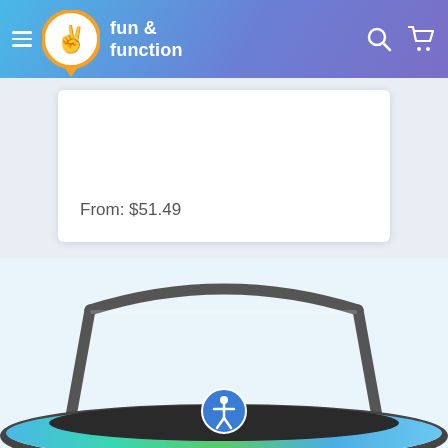fun & function
From: $51.49
[Figure (photo): Trampoline with handlebar safety rail, blue and green patterned border pad, partial view from front showing the arc-shaped handlebar and jumping surface.]